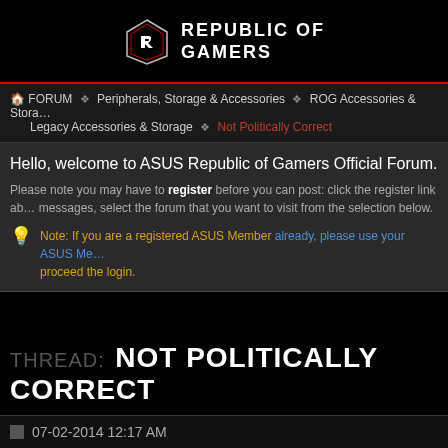[Figure (logo): ASUS Republic of Gamers logo with stylized ROG symbol and text 'REPUBLIC OF GAMERS']
FORUM ❯ Peripherals, Storage & Accessories ❯ ROG Accessories & Storage, Legacy Accessories & Storage ❯ Not Politically Correct
Hello, welcome to ASUS Republic of Gamers Official Forum.
Please note you may have to register before you can post: click the register link above to proceed. To start viewing messages, select the forum that you want to visit from the selection below.
Note: If you are a registered ASUS Member already, please use your ASUS Member ID to proceed the login.
THREAD: NOT POLITICALLY CORRECT
Thread T
07-02-2014 12:17 AM